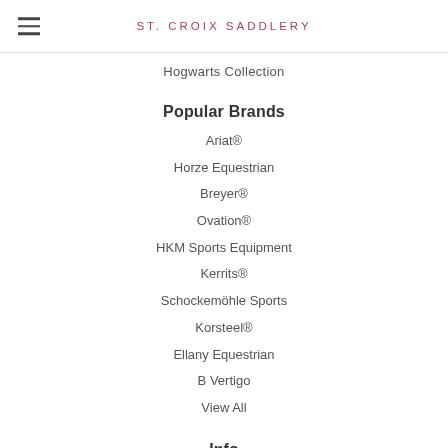ST. CROIX SADDLERY
Hogwarts Collection
Popular Brands
Ariat®
Horze Equestrian
Breyer®
Ovation®
HKM Sports Equipment
Kerrits®
Schockemöhle Sports
Korsteel®
Ellany Equestrian
B Vertigo
View All
Info